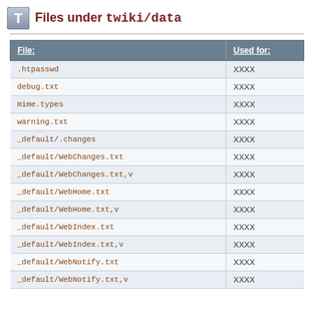Files under twiki/data
| File: | Used for: |
| --- | --- |
| .htpasswd | XXXX |
| debug.txt | XXXX |
| mime.types | XXXX |
| warning.txt | XXXX |
| _default/.changes | XXXX |
| _default/WebChanges.txt | XXXX |
| _default/WebChanges.txt,v | XXXX |
| _default/WebHome.txt | XXXX |
| _default/WebHome.txt,v | XXXX |
| _default/WebIndex.txt | XXXX |
| _default/WebIndex.txt,v | XXXX |
| _default/WebNotify.txt | XXXX |
| _default/WebNotify.txt,v | XXXX |